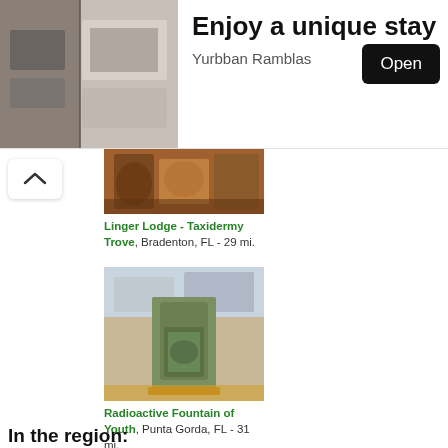[Figure (photo): Hotel room photo showing interior with bed and corridor - advertisement banner for Yurbban Ramblas]
Enjoy a unique stay
Yurbban Ramblas
Open
[Figure (photo): Photo of ornate wooden carved interior at Linger Lodge - Taxidermy Trove]
Linger Lodge - Taxidermy Trove, Bradenton, FL - 29 mi.
[Figure (photo): Photo of a green stone monument or fountain on a brick sidewalk - Radioactive Fountain of Youth]
Radioactive Fountain of Youth, Punta Gorda, FL - 31 mi.
In the region: